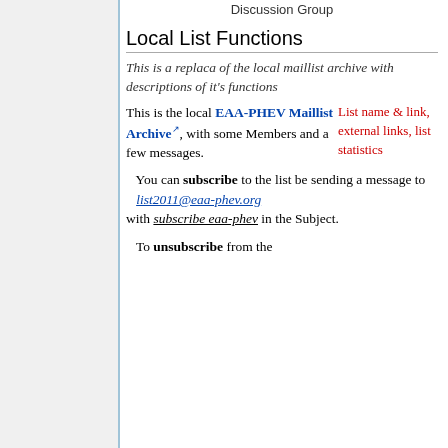Discussion Group
Local List Functions
This is a replaca of the local maillist archive with descriptions of it's functions
This is the local EAA-PHEV Maillist Archive, with some Members and a few messages.
List name & link, external links, list statistics
You can subscribe to the list be sending a message to list2011@eaa-phev.org with subscribe eaa-phev in the Subject.
To unsubscribe from the list, send a message to